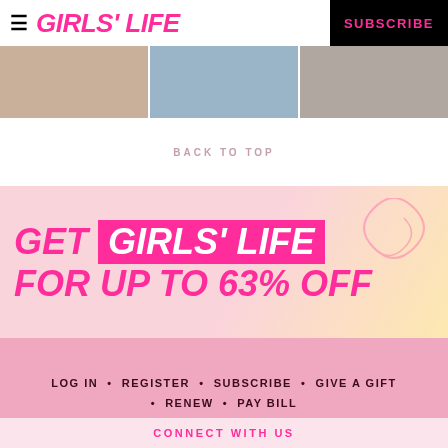≡ GIRLS' LIFE   SUBSCRIBE
[Figure (photo): Three cropped photo thumbnails in a horizontal strip showing people]
BACK TO TOP
[Figure (infographic): Advertisement banner: GET GIRLS' LIFE FOR UP TO 63% OFF with pink and yellow gradient background]
LOG IN  •  REGISTER  •  SUBSCRIBE  •  GIVE A GIFT  •  RENEW  •  PAY BILL
CONNECT WITH US